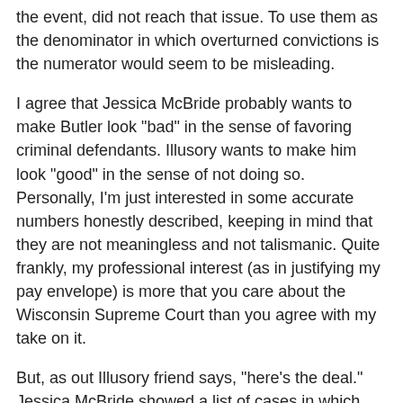the event, did not reach that issue. To use them as the denominator in which overturned convictions is the numerator would seem to be misleading.
I agree that Jessica McBride probably wants to make Butler look "bad" in the sense of favoring criminal defendants. Illusory wants to make him look "good" in the sense of not doing so. Personally, I'm just interested in some accurate numbers honestly described, keeping in mind that they are not meaningless and not talismanic. Quite frankly, my professional interest (as in justifying my pay envelope) is more that you care about the Wisconsin Supreme Court than you agree with my take on it.
But, as out Illusory friend says, "here's the deal." Jessica McBride showed a list of cases in which the Butler campaign claimed that he had ruled in favor of the state and against the defendant 70% of the time. These are, as I understand it, the campaign's words and not hers and that is certainly what a number of media outlets have reported. That claim (which is far different than "I didn't vote to overturn a conviction") is clearly wrong.